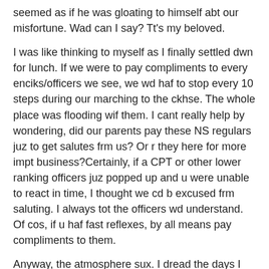seemed as if he was gloating to himself abt our misfortune. Wad can I say? Tt's my beloved.
I was like thinking to myself as I finally settled dwn for lunch. If we were to pay compliments to every enciks/officers we see, we wd haf to stop every 10 steps during our marching to the ckhse. The whole place was flooding wif them. I cant really help by wondering, did our parents pay these NS regulars juz to get salutes frm us? Or r they here for more impt business?Certainly, if a CPT or other lower ranking officers juz popped up and u were unable to react in time, I thought we cd b excused frm saluting. I always tot the officers wd understand. Of cos, if u haf fast reflexes, by all means pay compliments to them.
Anyway, the atmosphere sux. I dread the days I spent in AFS.
To Guest: Glad tt u pt tt out! I noe tt we cd ask our superior for transport fees. However, after wad I had seen frm my course commander's actions yest, I cd safely conclude tt he's not the kinda of guy who wd tend to yr fucking needs.